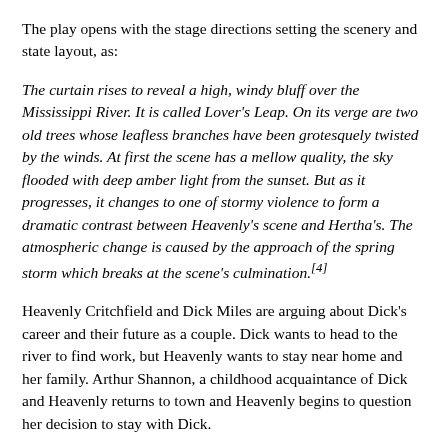The play opens with the stage directions setting the scenery and state layout, as:
The curtain rises to reveal a high, windy bluff over the Mississippi River. It is called Lover's Leap. On its verge are two old trees whose leafless branches have been grotesquely twisted by the winds. At first the scene has a mellow quality, the sky flooded with deep amber light from the sunset. But as it progresses, it changes to one of stormy violence to form a dramatic contrast between Heavenly's scene and Hertha's. The atmospheric change is caused by the approach of the spring storm which breaks at the scene's culmination.[4]
Heavenly Critchfield and Dick Miles are arguing about Dick's career and their future as a couple. Dick wants to head to the river to find work, but Heavenly wants to stay near home and her family. Arthur Shannon, a childhood acquaintance of Dick and Heavenly returns to town and Heavenly begins to question her decision to stay with Dick.
Mrs. Critchfield and Lila, Heavenly's aunt, are found in the Critchfield home's living room discussing what's happened to the other young women who chose not to marry young or made the wrong decision; they're all lonely and poor now. Mrs. Critchfield